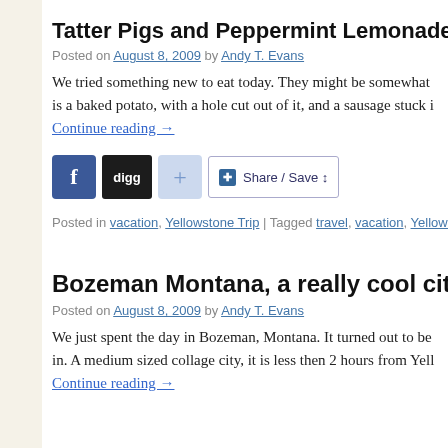Tatter Pigs and Peppermint Lemonade…
Posted on August 8, 2009 by Andy T. Evans
We tried something new to eat today. They might be somewhat is a baked potato, with a hole cut out of it, and a sausage stuck i
Continue reading →
[Figure (other): Social sharing buttons: Facebook, Digg, Plus, Share/Save]
Posted in vacation, Yellowstone Trip | Tagged travel, vacation, Yellowstone |
Bozeman Montana, a really cool city
Posted on August 8, 2009 by Andy T. Evans
We just spent the day in Bozeman, Montana. It turned out to be in. A medium sized collage city, it is less then 2 hours from Yell
Continue reading →